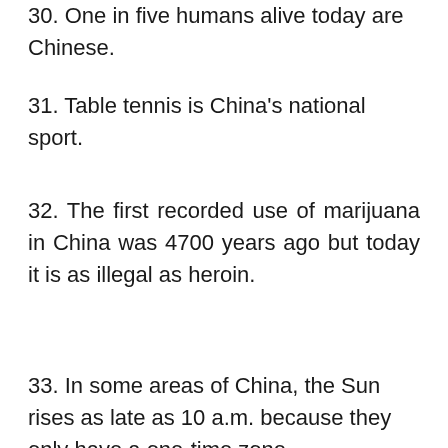30. One in five humans alive today are Chinese.
31. Table tennis is China's national sport.
32. The first recorded use of marijuana in China was 4700 years ago but today it is as illegal as heroin.
33. In some areas of China, the Sun rises as late as 10 a.m. because they only have a one-time zone.